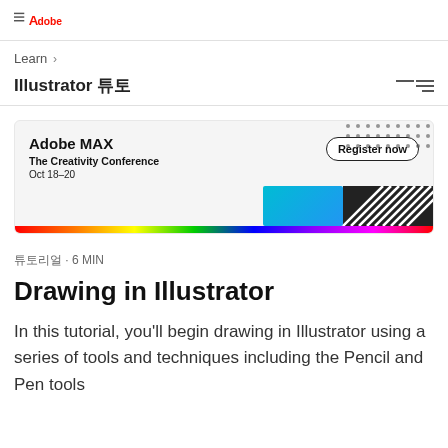Adobe
Learn >
Illustrator 튜토
[Figure (screenshot): Adobe MAX – The Creativity Conference advertisement banner. Text: 'Adobe MAX The Creativity Conference Oct 18–20' with a 'Register now' button, colorful graphics and rainbow bar at bottom.]
튜토리얼 · 6 MIN
Drawing in Illustrator
In this tutorial, you'll begin drawing in Illustrator using a series of tools and techniques including the Pencil and Pen tools